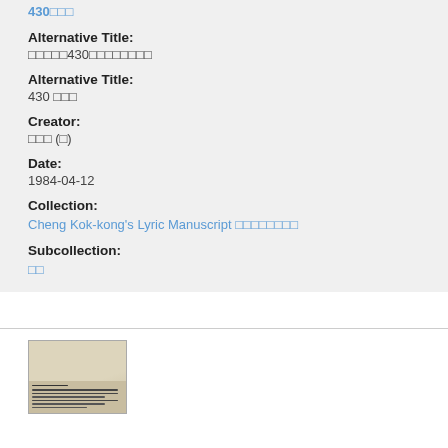430□□□
Alternative Title:
□□□□□430□□□□□□□□
Alternative Title:
430 □□□
Creator:
□□□ (□)
Date:
1984-04-12
Collection:
Cheng Kok-kong's Lyric Manuscript □□□□□□□□
Subcollection:
□□
[Figure (photo): Thumbnail image of a handwritten manuscript page with text lines]